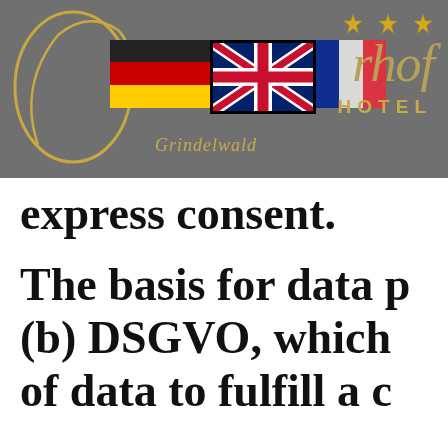[Figure (logo): Hotel Berghof Grindelwald logo with grey background, golden cursive lettering, three flags (German, UK, French), gold stars, and decorative golden circle/swirl]
express consent.
The basis for data p (b) DSGVO, which of data to fulfill a c